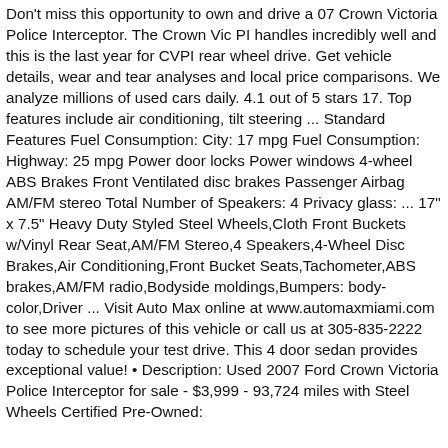Don't miss this opportunity to own and drive a 07 Crown Victoria Police Interceptor. The Crown Vic PI handles incredibly well and this is the last year for CVPI rear wheel drive. Get vehicle details, wear and tear analyses and local price comparisons. We analyze millions of used cars daily. 4.1 out of 5 stars 17. Top features include air conditioning, tilt steering ... Standard Features Fuel Consumption: City: 17 mpg Fuel Consumption: Highway: 25 mpg Power door locks Power windows 4-wheel ABS Brakes Front Ventilated disc brakes Passenger Airbag AM/FM stereo Total Number of Speakers: 4 Privacy glass: ... 17" x 7.5" Heavy Duty Styled Steel Wheels,Cloth Front Buckets w/Vinyl Rear Seat,AM/FM Stereo,4 Speakers,4-Wheel Disc Brakes,Air Conditioning,Front Bucket Seats,Tachometer,ABS brakes,AM/FM radio,Bodyside moldings,Bumpers: body-color,Driver ... Visit Auto Max online at www.automaxmiami.com to see more pictures of this vehicle or call us at 305-835-2222 today to schedule your test drive. This 4 door sedan provides exceptional value! • Description: Used 2007 Ford Crown Victoria Police Interceptor for sale - $3,999 - 93,724 miles with Steel Wheels Certified Pre-Owned: